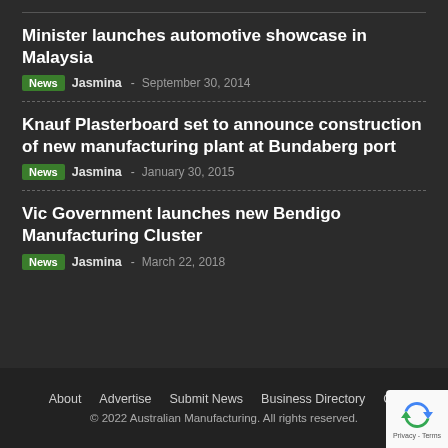Minister launches automotive showcase in Malaysia
News  Jasmina  - September 30, 2014
Knauf Plasterboard set to announce construction of new manufacturing plant at Bundaberg port
News  Jasmina  - January 30, 2015
Vic Government launches new Bendigo Manufacturing Cluster
News  Jasmina  - March 22, 2018
About   Advertise   Submit News   Business Directory   Co...   © 2022 Australian Manufacturing. All rights reserved.